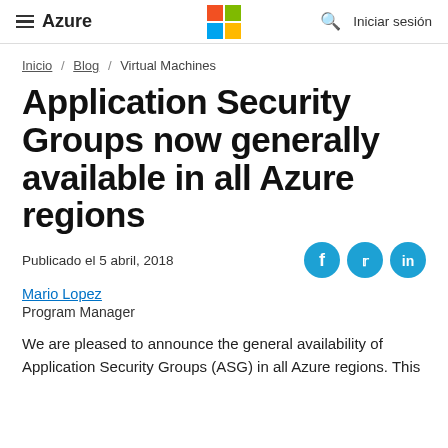≡ Azure  [Microsoft Logo]  🔍  Iniciar sesión
Inicio / Blog / Virtual Machines
Application Security Groups now generally available in all Azure regions
Publicado el 5 abril, 2018
Mario Lopez
Program Manager
We are pleased to announce the general availability of Application Security Groups (ASG) in all Azure regions. This